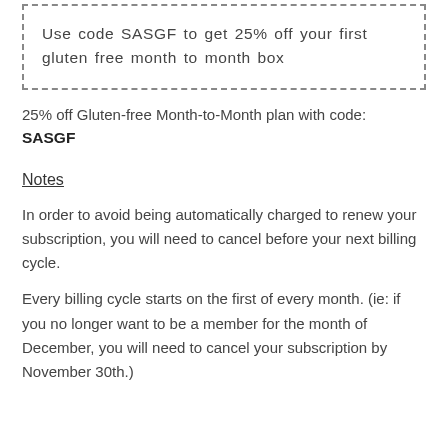Use code SASGF to get 25% off your first gluten free month to month box
25% off Gluten-free Month-to-Month plan with code:
SASGF
Notes
In order to avoid being automatically charged to renew your subscription, you will need to cancel before your next billing cycle.
Every billing cycle starts on the first of every month. (ie: if you no longer want to be a member for the month of December, you will need to cancel your subscription by November 30th.)